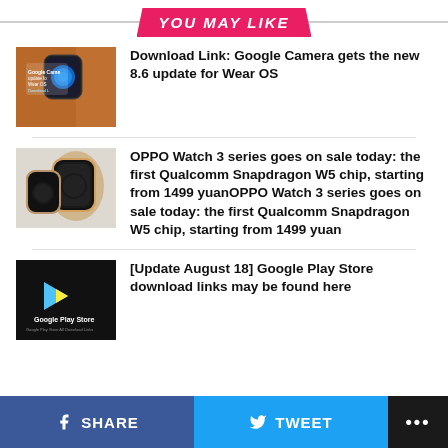YOU MAY LIKE
[Figure (photo): Google Camera Wear OS update thumbnail with smartwatch]
Download Link: Google Camera gets the new 8.6 update for Wear OS
[Figure (photo): OPPO Watch 3 series product photo]
OPPO Watch 3 series goes on sale today: the first Qualcomm Snapdragon W5 chip, starting from 1499 yuanOPPO Watch 3 series goes on sale today: the first Qualcomm Snapdragon W5 chip, starting from 1499 yuan
[Figure (logo): Google Play Store logo on black background]
[Update August 18] Google Play Store download links may be found here
SHARE   TWEET   ...